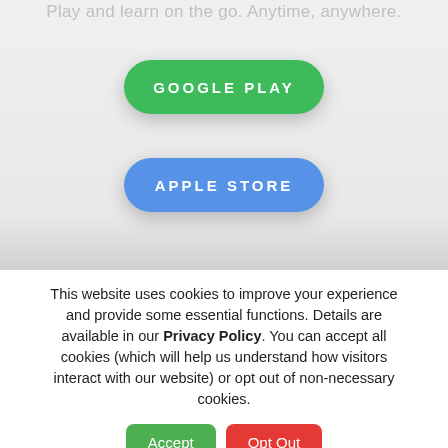Play and learn on the go. Anytime, anywhere.
[Figure (other): Green rounded button labeled GOOGLE PLAY]
[Figure (other): Blue rounded button labeled APPLE STORE]
This website uses cookies to improve your experience and provide some essential functions. Details are available in our Privacy Policy. You can accept all cookies (which will help us understand how visitors interact with our website) or opt out of non-necessary cookies.
[Figure (other): Accept button (green) and Opt Out button (red)]